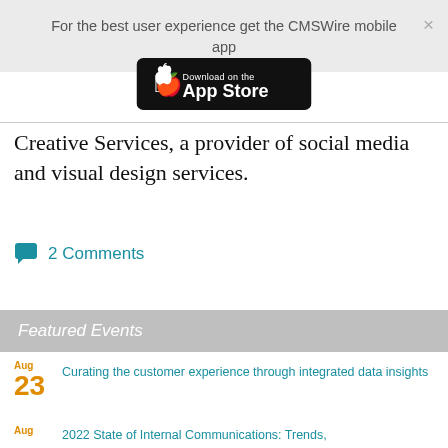For the best user experience get the CMSWire mobile app
[Figure (screenshot): Download on the App Store button (black rounded rectangle with Apple logo)]
Creative Services, a provider of social media and visual design services.
2 Comments
Featured Events
Aug 23 Curating the customer experience through integrated data insights
Aug 2022 State of Internal Communications: Trends,